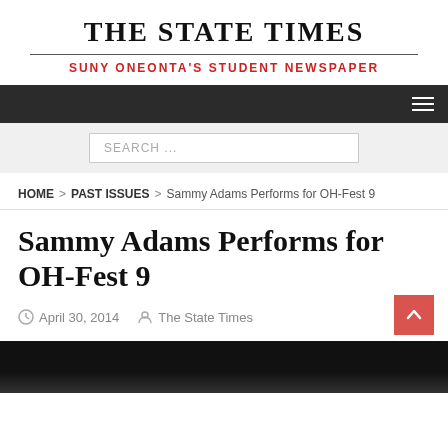THE STATE TIMES
SUNY ONEONTA'S STUDENT NEWSPAPER
HOME > PAST ISSUES > Sammy Adams Performs for OH-Fest 9
Sammy Adams Performs for OH-Fest 9
April 30, 2014   The State Times
[Figure (photo): Dark image preview at bottom of page, appears to be a concert or performance photo]